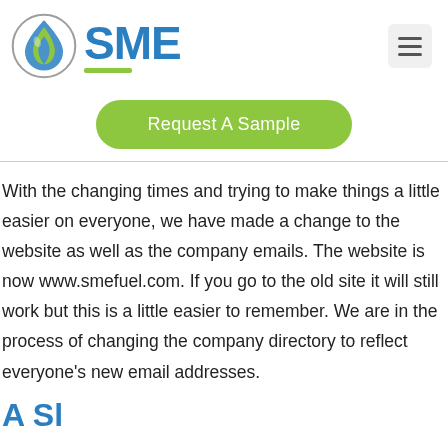[Figure (logo): SME logo with water droplet icon and green underline bar]
Request A Sample
With the changing times and trying to make things a little easier on everyone, we have made a change to the website as well as the company emails. The website is now www.smefuel.com. If you go to the old site it will still work but this is a little easier to remember. We are in the process of changing the company directory to reflect everyone's new email addresses.
A Sl...